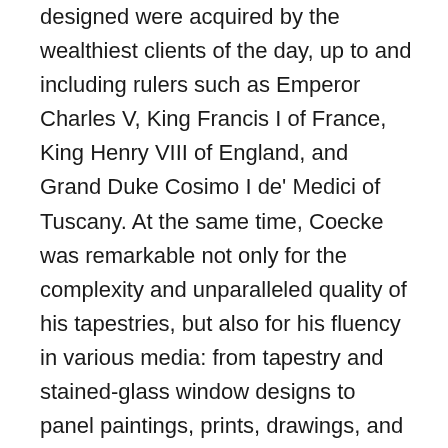designed were acquired by the wealthiest clients of the day, up to and including rulers such as Emperor Charles V, King Francis I of France, King Henry VIII of England, and Grand Duke Cosimo I de' Medici of Tuscany. At the same time, Coecke was remarkable not only for the complexity and unparalleled quality of his tapestries, but also for his fluency in various media: from tapestry and stained-glass window designs to panel paintings, prints, drawings, and architectural treatises. Though only forty-eight when he died, Coecke was one of the greatest Netherlandish artists of the sixteenth century. His paintings and drawings, initially wrought in the style of the Antwerp Mannerists, evolved through his enthusiastic response to Italian Renaissance design, and influenced generations of artists in his wake. This comprehensive study explores Coecke's stylistic development, as well